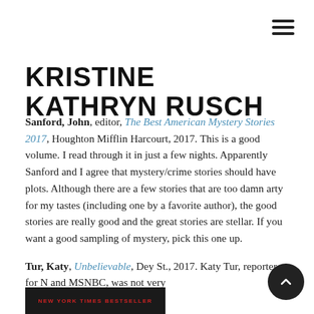KRISTINE KATHRYN RUSCH
Sanford, John, editor, The Best American Mystery Stories 2017, Houghton Mifflin Harcourt, 2017. This is a good volume. I read through it in just a few nights. Apparently Sanford and I agree that mystery/crime stories should have plots. Although there are a few stories that are too damn arty for my tastes (including one by a favorite author), the good stories are really good and the great stories are stellar. If you want a good sampling of mystery, pick this one up.
Tur, Katy, Unbelievable, Dey St., 2017. Katy Tur, reporter for [NBC] and MSNBC, was not very